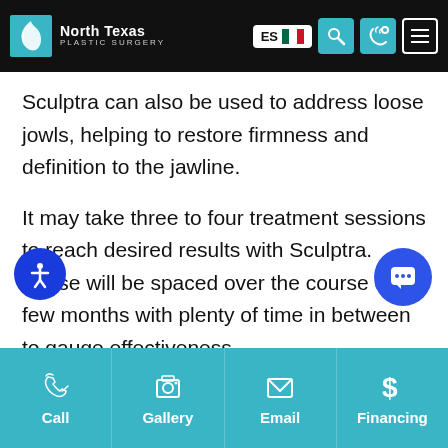North Texas Plastic Surgery
Sculptra can also be used to address loose jowls, helping to restore firmness and definition to the jawline.
It may take three to four treatment sessions to reach desired results with Sculptra. These will be spaced over the course of a few months with plenty of time in between to gauge effectiveness. During your time in our care, we will develop a treatment plan that addresses your concerns and
Call | Gallery | Email | Financing